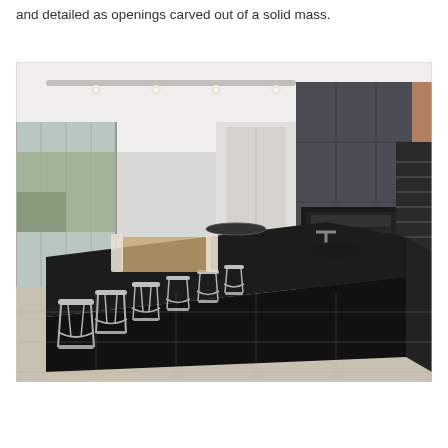and detailed as openings carved out of a solid mass.
[Figure (photo): Interior photograph of a modern open-plan kitchen featuring a long black island bench with multiple grey designer bar stools, dark grey handleless cabinetry reaching to ceiling height with a warm timber trim panel on the right side, built-in black oven and appliances, track lighting on white ceiling, large floor-to-ceiling glazing to the left showing garden outside, dining area visible in background, and a staircase visible on the far right.]